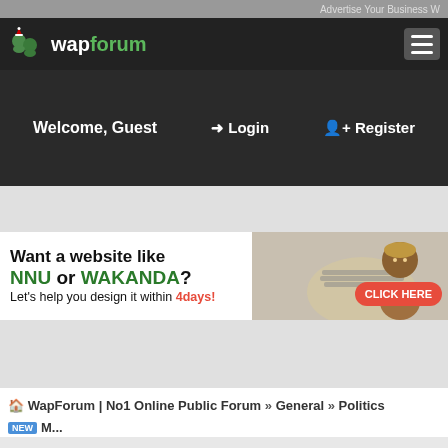Advertise Your Business W...
[Figure (logo): wapforum logo with Christmas hat icon and green people icons]
Welcome, Guest   ➜ Login   👤+ Register
[Figure (infographic): Ad banner: Want a website like NNU or WAKANDA? Let's help you design it within 4days! CLICK HERE]
🏠 WapForum | No1 Online Public Forum » General » Politics
NEW ...